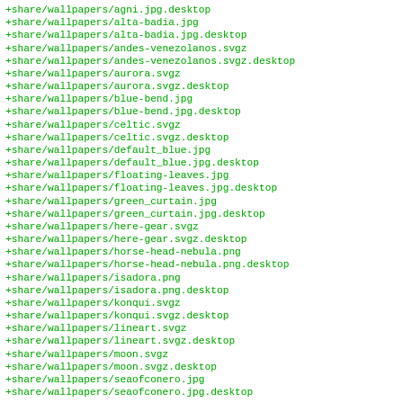+share/wallpapers/agni.jpg.desktop
+share/wallpapers/alta-badia.jpg
+share/wallpapers/alta-badia.jpg.desktop
+share/wallpapers/andes-venezolanos.svgz
+share/wallpapers/andes-venezolanos.svgz.desktop
+share/wallpapers/aurora.svgz
+share/wallpapers/aurora.svgz.desktop
+share/wallpapers/blue-bend.jpg
+share/wallpapers/blue-bend.jpg.desktop
+share/wallpapers/celtic.svgz
+share/wallpapers/celtic.svgz.desktop
+share/wallpapers/default_blue.jpg
+share/wallpapers/default_blue.jpg.desktop
+share/wallpapers/floating-leaves.jpg
+share/wallpapers/floating-leaves.jpg.desktop
+share/wallpapers/green_curtain.jpg
+share/wallpapers/green_curtain.jpg.desktop
+share/wallpapers/here-gear.svgz
+share/wallpapers/here-gear.svgz.desktop
+share/wallpapers/horse-head-nebula.png
+share/wallpapers/horse-head-nebula.png.desktop
+share/wallpapers/isadora.png
+share/wallpapers/isadora.png.desktop
+share/wallpapers/konqui.svgz
+share/wallpapers/konqui.svgz.desktop
+share/wallpapers/lineart.svgz
+share/wallpapers/lineart.svgz.desktop
+share/wallpapers/moon.svgz
+share/wallpapers/moon.svgz.desktop
+share/wallpapers/seaofconero.jpg
+share/wallpapers/seaofconero.jpg.desktop